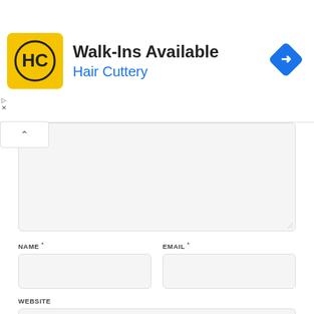[Figure (screenshot): Advertisement banner for Hair Cuttery with logo, title 'Walk-Ins Available', brand name in blue, and a navigation arrow icon on the right]
NAME *
EMAIL *
WEBSITE
SAVE MY NAME, EMAIL, AND WEBSITE IN THIS BROWSER FOR THE NEXT TIME I COMMENT.